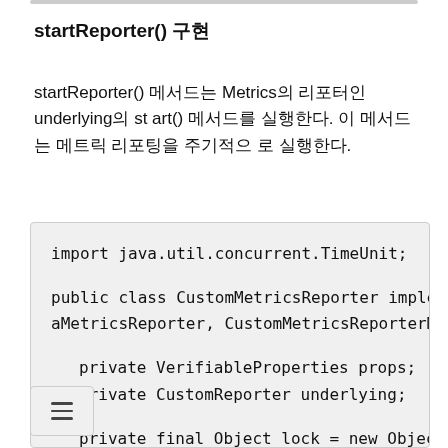startReporter() 구현
startReporter() 메서드는 Metrics의 리포터인 underlying의 start() 메서드를 실행한다. 이 메서드는 메트릭 리포팅을 주기적으로 실행한다.
import java.util.concurrent.TimeUnit;

public class CustomMetricsReporter implements KafkaMetricsReporter, CustomMetricsReporterMBean {

    private VerifiableProperties props;
    private CustomReporter underlying;

    private final Object lock = new Object();